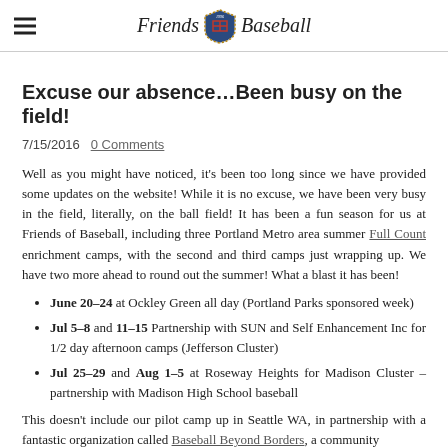Friends of Baseball
Excuse our absence…Been busy on the field!
7/15/2016  0 Comments
Well as you might have noticed, it's been too long since we have provided some updates on the website! While it is no excuse, we have been very busy in the field, literally, on the ball field! It has been a fun season for us at Friends of Baseball, including three Portland Metro area summer Full Count enrichment camps, with the second and third camps just wrapping up. We have two more ahead to round out the summer! What a blast it has been!
June 20–24 at Ockley Green all day (Portland Parks sponsored week)
Jul 5–8 and 11–15 Partnership with SUN and Self Enhancement Inc for 1/2 day afternoon camps (Jefferson Cluster)
Jul 25–29 and Aug 1–5 at Roseway Heights for Madison Cluster –partnership with Madison High School baseball
This doesn't include our pilot camp up in Seattle WA, in partnership with a fantastic organization called Baseball Beyond Borders, a community